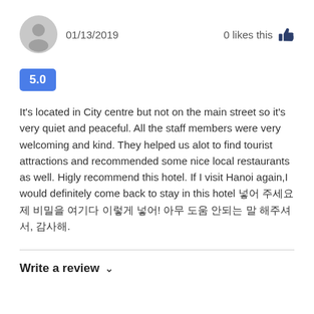[Figure (illustration): Grey circular user avatar icon with a person silhouette]
01/13/2019
0 likes this
5.0
It's located in City centre but not on the main street so it's very quiet and peaceful. All the staff members were very welcoming and kind. They helped us alot to find tourist attractions and recommended some nice local restaurants as well. Higly recommend this hotel. If I visit Hanoi again,I would definitely come back to stay in this hotel 넣어 주세요 제 비밀을 여기다 이렇게 넣어! 아무 도움 안되는 말 해주셔서, 감사해.
Write a review